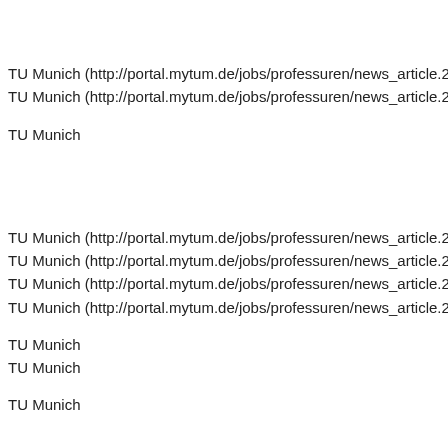TU Munich (http://portal.mytum.de/jobs/professuren/news_article.20
TU Munich (http://portal.mytum.de/jobs/professuren/news_article.20
TU Munich
TU Munich (http://portal.mytum.de/jobs/professuren/news_article.20
TU Munich (http://portal.mytum.de/jobs/professuren/news_article.20
TU Munich (http://portal.mytum.de/jobs/professuren/news_article.20
TU Munich (http://portal.mytum.de/jobs/professuren/news_article.20
TU Munich
TU Munich
TU Munich